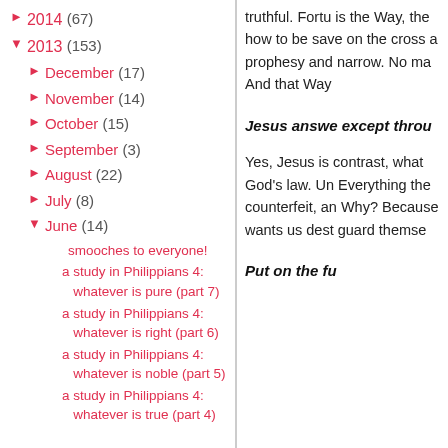► 2014 (67)
▼ 2013 (153)
► December (17)
► November (14)
► October (15)
► September (3)
► August (22)
► July (8)
▼ June (14)
smooches to everyone!
a study in Philippians 4: whatever is pure (part 7)
a study in Philippians 4: whatever is right (part 6)
a study in Philippians 4: whatever is noble (part 5)
a study in Philippians 4: whatever is true (part 4)
truthful. Fortu is the Way, the how to be save on the cross a prophesy and narrow. No ma And that Way
Jesus answe except throu
Yes, Jesus is contrast, what God's law. Un Everything the counterfeit, an Why? Because wants us dest guard themse
Put on the fu